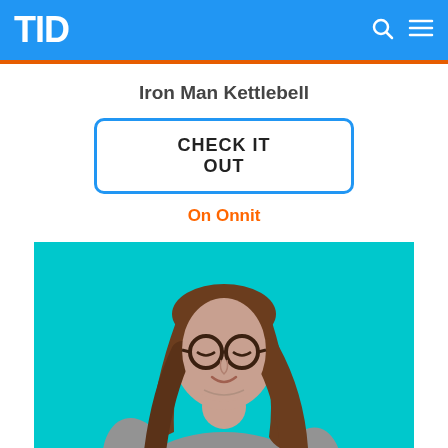TID
Iron Man Kettlebell
CHECK IT OUT
On Onnit
[Figure (photo): A woman with long brown hair wearing glasses and a grey sweater, smiling and looking downward, photographed against a bright cyan/teal background.]